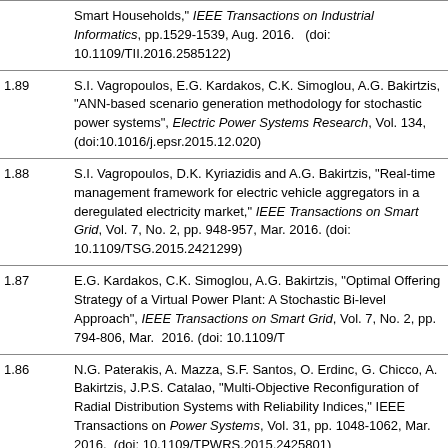|  | Smart Households," IEEE Transactions on  Industrial Informatics, pp.1529-1539, Aug. 2016.   (doi: 10.1109/TII.2016.2585122) |
| 1.89 | S.I. Vagropoulos, E.G. Kardakos, C.K. Simoglou, A.G. Bakirtzis, "ANN-based scenario generation methodology for stochastic power systems", Electric Power Systems Research, Vol. 134, (doi:10.1016/j.epsr.2015.12.020) |
| 1.88 | S.I. Vagropoulos, D.K. Kyriazidis and A.G. Bakirtzis, "Real-time management framework for electric vehicle aggregators in a deregulated electricity market," IEEE Transactions on Smart Grid, Vol. 7, No. 2, pp. 948-957, Mar. 2016. (doi: 10.1109/TSG.2015.2421299) |
| 1.87 | E.G. Kardakos, C.K. Simoglou, A.G. Bakirtzis, "Optimal Offering Strategy of a Virtual Power Plant: A Stochastic Bi-level Approach", IEEE Transactions on Smart Grid, Vol. 7, No. 2, pp. 794-806, Mar.  2016. (doi: 10.1109/T) |
| 1.86 | N.G. Paterakis, A. Mazza, S.F. Santos, O. Erdinc, G. Chicco, A. Bakirtzis, J.P.S. Catalao, "Multi-Objective Reconfiguration of Radial Distribution Systems with Reliability Indices," IEEE Transactions on Power Systems, Vol. 31, pp. 1048-1062, Mar. 2016.  (doi: 10.1109/TPWRS.2015.2425801) |
| 1.85 | C. K. Simoglou, E. A. Bakirtzis, P. N. Biskas, and A.G. Bakirtzis, "...of insular electricity grids under high RES penetration", Renewable... |